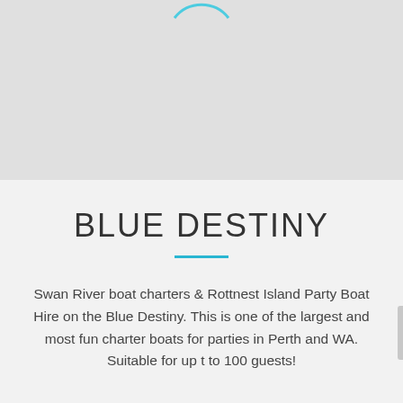[Figure (logo): Partial circular logo or icon outline in light blue/cyan, partially visible at top of page]
BLUE DESTINY
Swan River boat charters & Rottnest Island Party Boat Hire on the Blue Destiny. This is one of the largest and most fun charter boats for parties in Perth and WA. Suitable for up t to 100 guests!